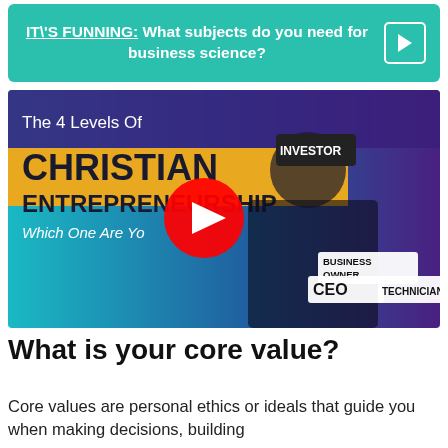IT\'S FUNNING:  What subjects do you need for business science?
[Figure (screenshot): YouTube video thumbnail showing 'The 4 Levels Of CHRISTIAN ENTREPRENEURSHIP Which One Are You' with a man in a black shirt and an INVESTOR hat, stacked hats labeled CEO, BUSINESS OWNER, TECHNICIAN, and a red YouTube play button overlay.]
What is your core value?
Core values are personal ethics or ideals that guide you when making decisions, building